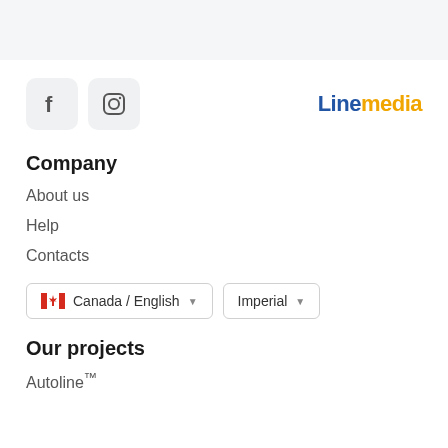[Figure (screenshot): Top gray bar (page header/navigation area)]
[Figure (logo): Social media icons (Facebook and Instagram) and Linemedia logo]
Company
About us
Help
Contacts
[Figure (screenshot): Locale selector buttons: Canada / English (dropdown) and Imperial (dropdown)]
Our projects
Autoline™